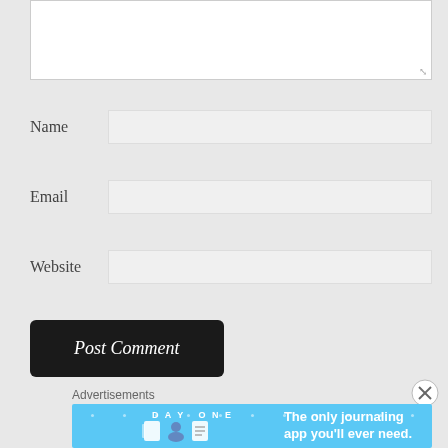[Figure (screenshot): Comment form textarea (empty, resizable) at the top of the page]
Name
Email
Website
Post Comment
Advertisements
[Figure (illustration): Day One journaling app advertisement banner with sky-blue background, icons of a journal, person, and notebook, and the text 'The only journaling app you'll ever need.']